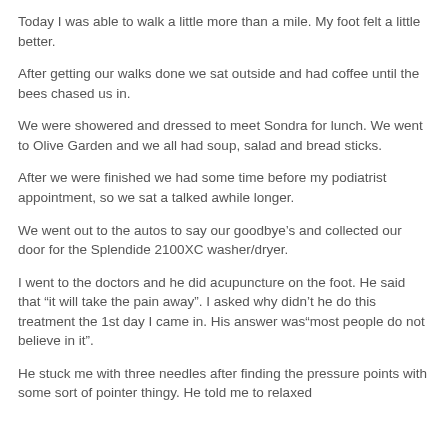Today I was able to walk a little more than a mile. My foot felt a little better.
After getting our walks done we sat outside and had coffee until the bees chased us in.
We were showered and dressed to meet Sondra for lunch. We went to Olive Garden and we all had soup, salad and bread sticks.
After we were finished we had some time before my podiatrist appointment, so we sat a talked awhile longer.
We went out to the autos to say our goodbye’s and collected our door for the Splendide 2100XC washer/dryer.
I went to the doctors and he did acupuncture on the foot. He said that “it will take the pain away”. I asked why didn’t he do this treatment the 1st day I came in. His answer was“most people do not believe in it”.
He stuck me with three needles after finding the pressure points with some sort of pointer thingy. He told me to relaxed